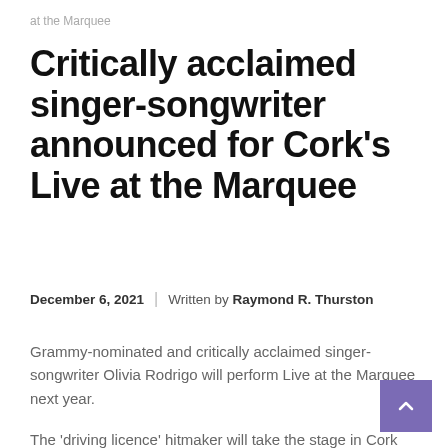at the Marquee
Critically acclaimed singer-songwriter announced for Cork's Live at the Marquee
December 6, 2021  |  Written by Raymond R. Thurston
Grammy-nominated and critically acclaimed singer-songwriter Olivia Rodrigo will perform Live at the Marquee next year.
The 'driving licence' hitmaker will take the stage in Cork